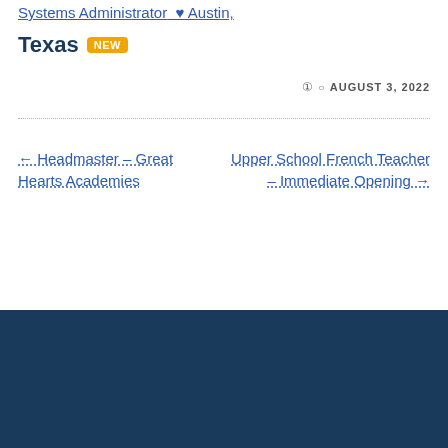Systems Administrator  ♥ Austin,
Texas NEW
AUGUST 3, 2022
← Headmaster – Great Hearts Academies
Upper School French Teacher – Immediate Opening →